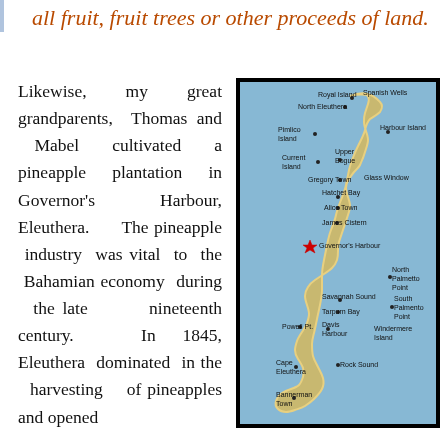all fruit, fruit trees or other proceeds of land.
Likewise, my great grandparents, Thomas and Mabel cultivated a pineapple plantation in Governor's Harbour, Eleuthera. The pineapple industry was vital to the Bahamian economy during the late nineteenth century. In 1845, Eleuthera dominated in the harvesting of pineapples and opened
[Figure (map): Map of Eleuthera island, Bahamas, showing towns including Royal Island, Spanish Wells, North Eleuthera, Pimlico Island, Harbour Island, Current Island, Upper Bogue, Gregory Town, Glass Window, Hatchet Bay, Alice Town, James Cistern, Governor's Harbour (marked with red star), North Palmetto Point, South Palmento Point, Savannah Sound, Tarpurn Bay, Powell Pt., Davis Harbour, Windermere Island, Cape Eleuthera, Rock Sound, Bannerman Town. Blue water background with island outline in tan/gold.]